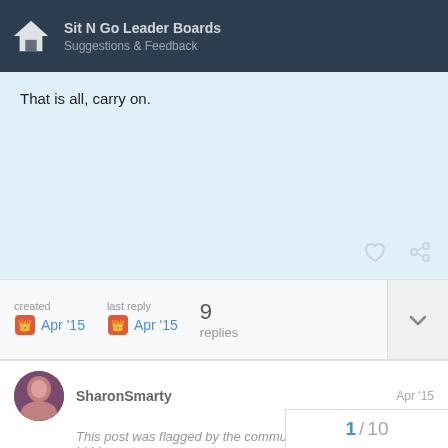Sit N Go Leader Boards — Suggestions & Feedback
That is all, carry on.
created Apr '15  last reply Apr '15  9 replies
SharonSmarty  Apr '15
This post was flagged by the community and is temporarily hidden.
View ignored content.
1 / 10